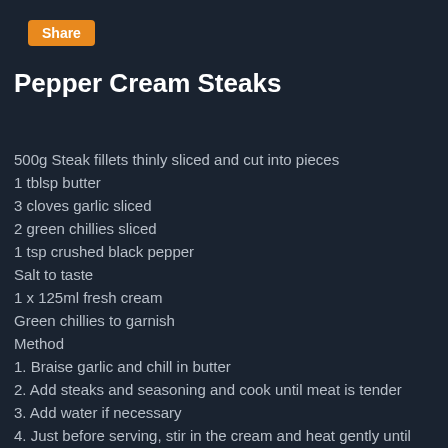Pepper Cream Steaks
500g Steak fillets thinly sliced and cut into pieces
1 tblsp butter
3 cloves garlic sliced
2 green chillies sliced
1 tsp crushed black pepper
Salt to taste
1 x 125ml fresh cream
Green chillies to garnish
Method
1. Braise garlic and chill in butter
2. Add steaks and seasoning and cook until meat is tender
3. Add water if necessary
4. Just before serving, stir in the cream and heat gently until a thick sauce forms
5. Garnish and serve with French fries